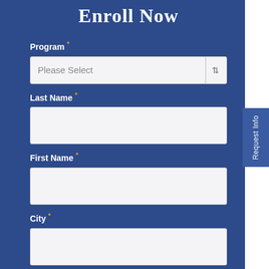Enroll Now
Program *
Please Select
Last Name *
First Name *
City *
State *
Please Select